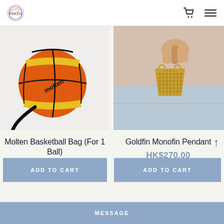FINJO logo, cart icon, menu icon
[Figure (photo): Molten basketball-shaped crossbody bag in orange and yellow with black zipper and strap]
[Figure (photo): Hand holding gold Goldfin Monofin pendant jewelry against ocean background]
Molten Basketball Bag (For 1 Ball)
HK$148.00
HK$170.00
Goldfin Monofin Pendant
HK$270.00
HK$330.00
ADD TO CART
ADD TO CART
MESSAGE